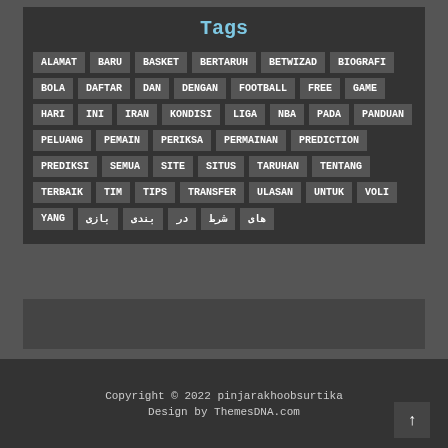Tags
ALAMAT
BARU
BASKET
BERTARUH
BETWIZAD
BIOGRAFI
BOLA
DAFTAR
DAN
DENGAN
FOOTBALL
FREE
GAME
HARI
INI
IRAN
KONDISI
LIGA
NBA
PADA
PANDUAN
PELUANG
PEMAIN
PERIKSA
PERMAINAN
PREDICTION
PREDIKSI
SEMUA
SITE
SITUS
TARUHAN
TENTANG
TERBAIK
TIM
TIPS
TRANSFER
ULASAN
UNTUK
VOLI
YANG
بازی
بندی
در
شرط
های
Copyright © 2022 pinjarakhoobsurtika
Design by ThemesDNA.com